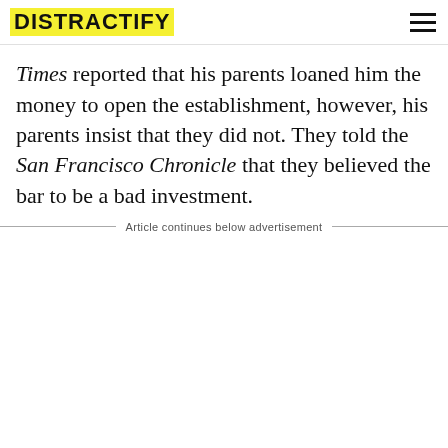DISTRACTIFY
Times reported that his parents loaned him the money to open the establishment, however, his parents insist that they did not. They told the San Francisco Chronicle that they believed the bar to be a bad investment.
Article continues below advertisement